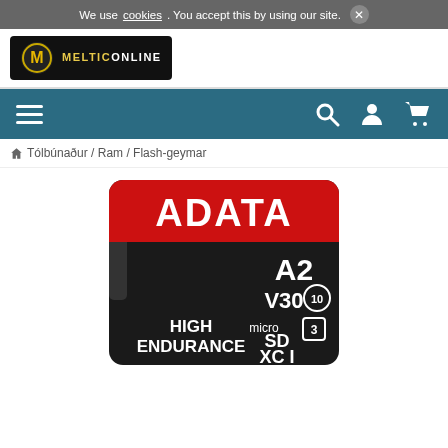We use cookies. You accept this by using our site. ✕
[Figure (logo): Meltic Online logo — white text on black background with gold 'M' icon]
[Figure (infographic): Navigation bar with hamburger menu icon on left and search, user, cart icons on right, dark teal background]
🏠 Tólbúnaður / Ram / Flash-geymar
[Figure (photo): ADATA High Endurance microSD XC I card, black body with red top stripe, A2 V30 UHS-I U3 markings]